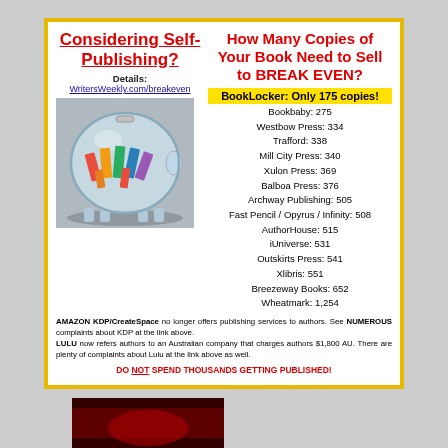Considering Self-Publishing?
How Many Copies of Your Book Need to Sell to BREAK EVEN?
Details: WritersWeekly.com/breakeven
[Figure (photo): Photo of colorful books inside a glass piggy bank]
BookLocker: Only 175 copies!
Bookbaby: 275
Westbow Press: 334
Trafford: 338
Mill City Press: 340
Xulon Press: 369
Balboa Press: 376
Archway Publishing: 505
Fast Pencil / Opyrus / Infinity: 508
AuthorHouse: 515
iUniverse: 531
Outskirts Press: 541
Xlibris: 551
Breezeway Books: 652
Wheatmark: 1,254
AMAZON KDP/CreateSpace no longer offers publishing services to authors. See NUMEROUS complaints about KDP at the link above. LULU now refers authors to an Australian company that charges authors $1,800 AU. There are plenty of complaints about Lulu at the link above as well.
DO NOT SPEND THOUSANDS GETTING PUBLISHED!